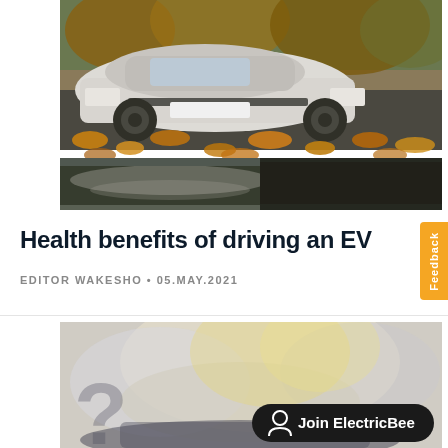[Figure (photo): White hybrid car (Toyota Prius) photographed from the front, parked on a road covered with autumn yellow and orange fallen leaves, with a water reflection visible in the foreground.]
Health benefits of driving an EV
EDITOR WAKESHO • 05.MAY.2021
[Figure (photo): Blurred background image showing a car scene with a large stylized question mark number and a dark rounded 'Join ElectricBee' button overlay with a person icon.]